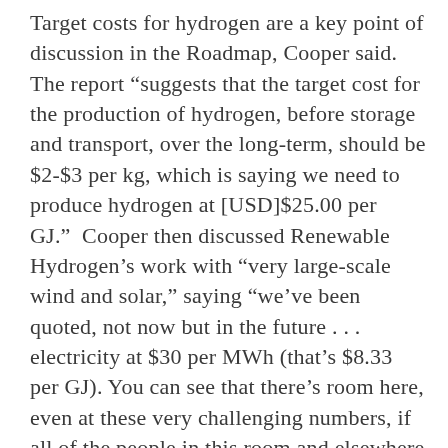Target costs for hydrogen are a key point of discussion in the Roadmap, Cooper said. The report “suggests that the target cost for the production of hydrogen, before storage and transport, over the long-term, should be $2-$3 per kg, which is saying we need to produce hydrogen at [USD]$25.00 per GJ.” Cooper then discussed Renewable Hydrogen’s work with “very large-scale wind and solar,” saying “we’ve been quoted, not now but in the future . . . electricity at $30 per MWh (that’s $8.33 per GJ). You can see that there’s room here, even at these very challenging numbers, if all of the people in this room and elsewhere can come through with the breakthroughs that are being considered, then we well and truly should be in the money.”
Cooper then discussed Renewable Hydrogen’s strategy to achieve a viable set of